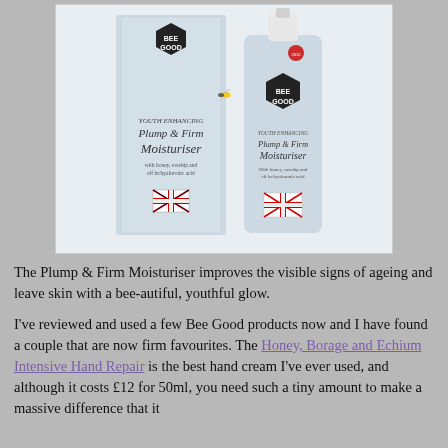[Figure (photo): Photo of Bee Good Youth Enhancing Plump & Firm Moisturiser product box and bottle on a light grey background]
The Plump & Firm Moisturiser improves the visible signs of ageing and leave skin with a bee-autiful, youthful glow.
I've reviewed and used a few Bee Good products now and I have found a couple that are now firm favourites. The Honey, Borage and Echium Intensive Hand Repair is the best hand cream I've ever used, and although it costs £12 for 50ml, you need such a tiny amount to make a massive difference that it